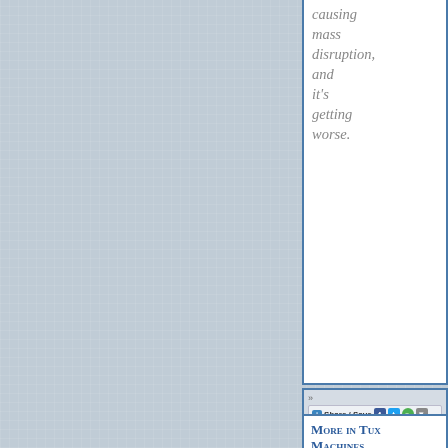causing mass disruption, and it's getting worse.
[Figure (screenshot): Share/Save social widget bar with Facebook, Twitter, and other social sharing icons, followed by Login or register to post comments link, Printer-friendly version with 1180 reads, and PDF version link.]
More in Tux Machines
Highlights
Front Page